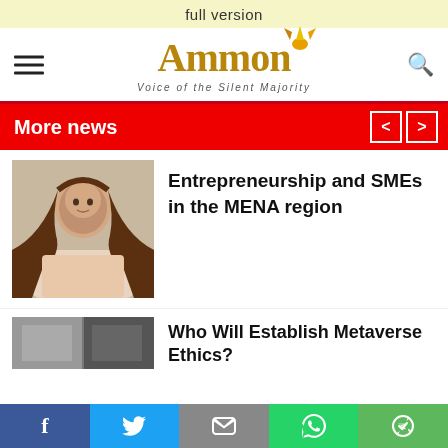full version
[Figure (logo): Ammon News logo with bird illustration and tagline 'Voice of the Silent Majority']
More news
[Figure (photo): Portrait photo of a woman with dark hair]
Entrepreneurship and SMEs in the MENA region
[Figure (photo): Small thumbnail image]
Who Will Establish Metaverse Ethics?